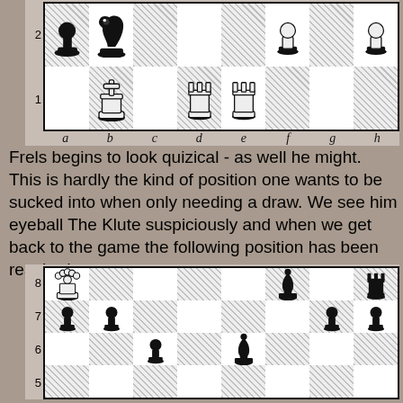[Figure (other): Chess board diagram showing position with ranks 1-2 visible. Pieces: a1 area empty, b1 white king, c1 empty, d1 white rook, e1 white rook, f1 empty, g1 empty, h1 empty. Row 2: a2 black pawn, b2 black knight, c2 empty, d2 empty, e2 empty, f2 white pawn, g2 empty, h2 white pawn. File labels a through h shown.]
Frels begins to look quizical - as well he might. This is hardly the kind of position one wants to be sucked into when only needing a draw. We see him eyeball The Klute suspiciously and when we get back to the game the following position has been reached...
[Figure (other): Chess board diagram showing position with ranks 5-8 visible. Pieces: a8 white queen, f8 black bishop, h8 black rook. Row 7: a7 black pawn, b7 black pawn, g7 black pawn, h7 black pawn. Row 6: c6 black pawn, e6 black bishop. Row 5: partial view shown.]